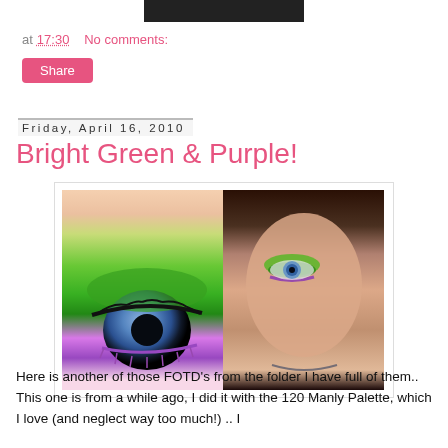[Figure (photo): Dark rectangular image bar at top of page]
at 17:30   No comments:
Share
Friday, April 16, 2010
Bright Green & Purple!
[Figure (photo): Two-panel makeup photo: left panel shows close-up of an eye with bright green eyeshadow and purple lower liner; right panel shows a woman's face displaying the same bold green and purple eye makeup look.]
Here is another of those FOTD's from the folder I have full of them.. This one is from a while ago, I did it with the 120 Manly Palette, which I love (and neglect way too much!) .. I really like how bright and green and this one is. On the lip, I b